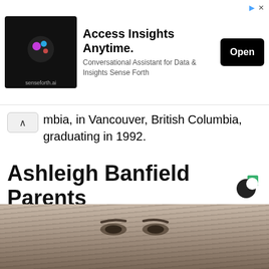[Figure (screenshot): Advertisement banner for senseforth.ai: Access Insights Anytime. Conversational Assistant for Data & Insights Sense Forth. Open button.]
mbia, in Vancouver, British Columbia, graduating in 1992.
Ashleigh Banfield Parents
She is the daughter of Suzanne Elizabeth and John Alexander Banfield. Her dad struggled with alcoholism. Her mother, Suzanne was the breadwinner of the family.
[Figure (photo): Bottom portion of woman's face showing eyes and hair (Ashleigh Banfield)]